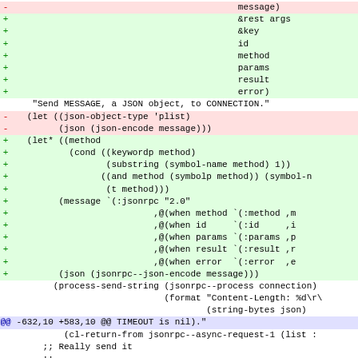Diff/code block showing git diff output with Lisp/Emacs code changes. Lines show removal of message) parameter and addition of &rest args, &key, id, method, params, result, error) parameters, followed by changes to let/let* forms, JSON RPC message construction, and a @@ hunk header at -632,10 +583,10 @@ TIMEOUT is nil).
"Send MESSAGE, a JSON object, to CONNECTION."
-   (let ((json-object-type 'plist)
-         (json (json-encode message)))
+   (let* ((method
+           (cond ((keywordp method)
+                  (substring (symbol-name method) 1))
+                 ((and method (symbolp method)) (symbol-n
+                  (t method)))
+         (message `(:jsonrpc "2.0"
+                           ,@(when method `(:method ,m
+                           ,@(when id     `(:id     ,i
+                           ,@(when params `(:params ,p
+                           ,@(when result `(:result ,r
+                           ,@(when error  `(:error  ,e
+         (json (jsonrpc--json-encode message)))
(process-send-string (jsonrpc--process connection)
(format "Content-Length: %d\r\
(string-bytes json)
@@ -632,10 +583,10 @@ TIMEOUT is nil)."
(cl-return-from jsonrpc--async-request-1 (list :
;; Really send it
;;